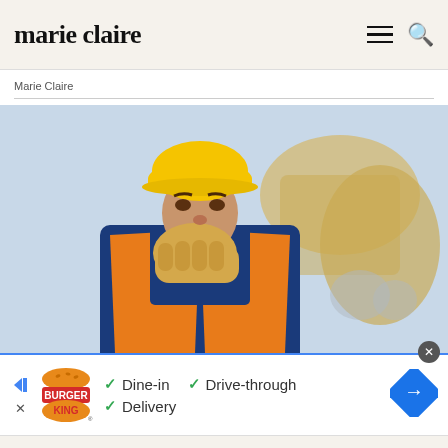marie claire
Marie Claire
[Figure (photo): Construction worker wearing a yellow hard hat, orange safety vest, and blue work shirt, covering his mouth with a gloved hand while coughing, with blurred construction machinery and site in the background.]
[Figure (infographic): Burger King advertisement showing logo with checkmarks next to: Dine-in, Drive-through, Delivery. A blue diamond-shaped map/direction icon is on the right.]